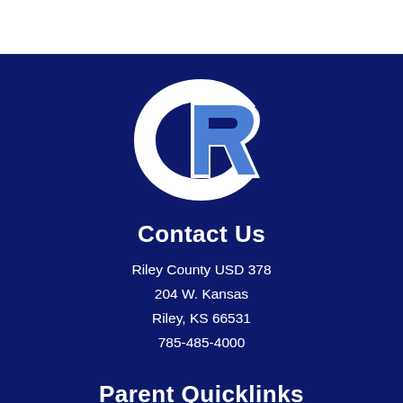[Figure (logo): Riley County USD 378 RC interlocking letter logo in blue and white on dark navy background]
Contact Us
Riley County USD 378
204 W. Kansas
Riley, KS 66531
785-485-4000
Parent Quicklinks